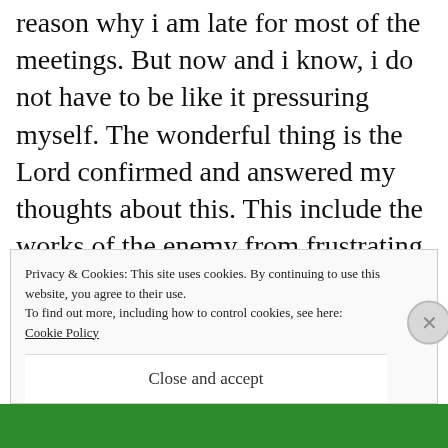reason why i am late for most of the meetings. But now and i know, i do not have to be like it pressuring myself. The wonderful thing is the Lord confirmed and answered my thoughts about this. This include the works of the enemy from frustrating your choice of dresses to being concerned and pressured about the latest fashion fads and how you can
Privacy & Cookies: This site uses cookies. By continuing to use this website, you agree to their use.
To find out more, including how to control cookies, see here:
Cookie Policy
Close and accept